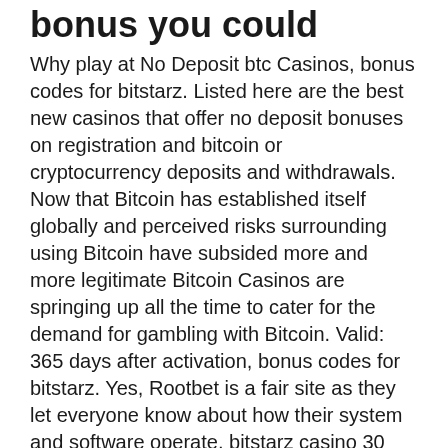bonus you could
Why play at No Deposit btc Casinos, bonus codes for bitstarz. Listed here are the best new casinos that offer no deposit bonuses on registration and bitcoin or cryptocurrency deposits and withdrawals. Now that Bitcoin has established itself globally and perceived risks surrounding using Bitcoin have subsided more and more legitimate Bitcoin Casinos are springing up all the time to cater for the demand for gambling with Bitcoin. Valid: 365 days after activation, bonus codes for bitstarz. Yes, Rootbet is a fair site as they let everyone know about how their system and software operate, bitstarz casino 30 zatočení zdarma. And sure, neon district is the rpg blockchain cyberpunk sport, битстарз казино бонус бездепозитный промокод. This is the desire to earn and attain heights! Казино: bitstarz; сумма бездепозитного бонуса: 25 фриспинов. Время зачисления: после регистрации.